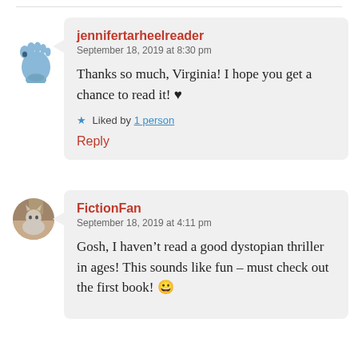jennifertarheelreader
September 18, 2019 at 8:30 pm

Thanks so much, Virginia! I hope you get a chance to read it! ♥

★ Liked by 1 person

Reply
FictionFan
September 18, 2019 at 4:11 pm

Gosh, I haven't read a good dystopian thriller in ages! This sounds like fun – must check out the first book! 😀